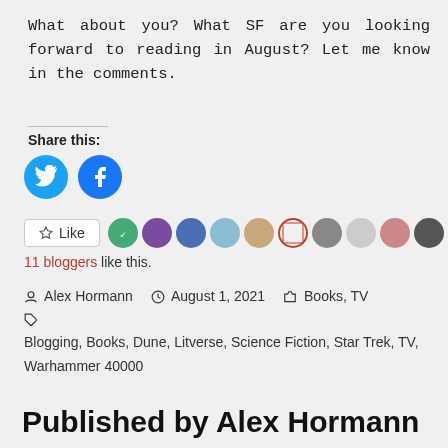What about you? What SF are you looking forward to reading in August? Let me know in the comments.
Share this:
[Figure (infographic): Twitter and Facebook social share icons (blue circles with white logos)]
[Figure (infographic): Like button and 11 blogger avatar icons in a row]
11 bloggers like this.
Alex Hormann   August 1, 2021   Books, TV
Blogging, Books, Dune, Litverse, Science Fiction, Star Trek, TV, Warhammer 40000
Published by Alex Hormann